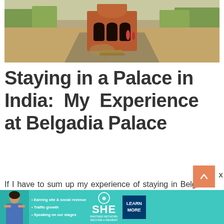[Figure (photo): Photograph of an ancient terracotta temple structure in India, with a wide open paved courtyard, dry grass landscape, and trees in the background. Visitors visible near the temple entrance.]
Staying in a Palace in India: My Experience at Belgadia Palace
If I have to sum up my experience of staying in Belgadia Palace in two words then it has to be – Royal & Homely.
[Figure (infographic): Advertisement banner for SHE PARTNER NETWORK with text: Earning site & social revenue, Traffic growth, Speaking on our stages. Includes a LEARN MORE button and a woman's photo.]